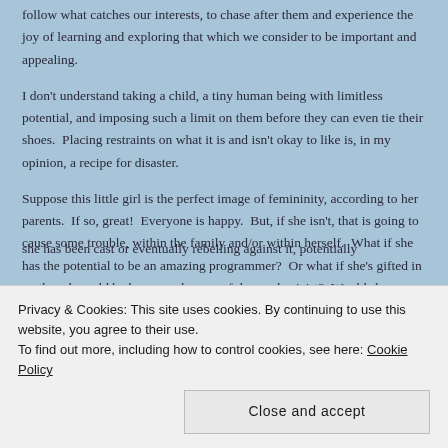follow what catches our interests, to chase after them and experience the joy of learning and exploring that which we consider to be important and appealing.
I don't understand taking a child, a tiny human being with limitless potential, and imposing such a limit on them before they can even tie their shoes.  Placing restraints on what it is and isn't okay to like is, in my opinion, a recipe for disaster.
Suppose this little girl is the perfect image of femininity, according to her parents.  If so, great!  Everyone is happy.  But, if she isn't, that is going to cause some trouble, within the family and/or within herself.  What if she has the potential to be an amazing programmer?  Or what if she's gifted in math and would be happy and successful as a physicist?  Would she...
she has been cast or eventually rebelling against it, potentially
Privacy & Cookies: This site uses cookies. By continuing to use this website, you agree to their use.
To find out more, including how to control cookies, see here: Cookie Policy
Close and accept